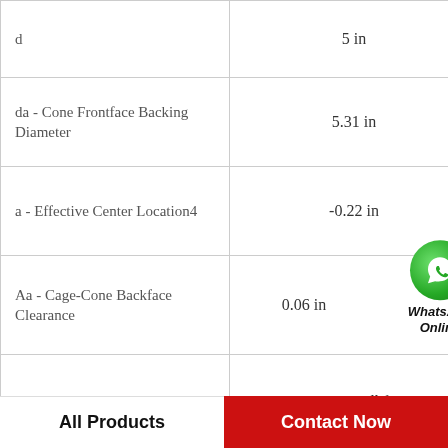| Parameter | Value |
| --- | --- |
| d | 5 in |
| da - Cone Frontface Backing Diameter | 5.31 in |
| a - Effective Center Location4 | -0.22 in |
| Aa - Cage-Cone Backface Clearance | 0.06 in |
| C0 - Static Radial Rating | 111000 lbf |
| G1 - Heat Generation Factor (Roller-Raceway) | 353 |
[Figure (logo): WhatsApp Online button with green phone icon]
All Products
Contact Now